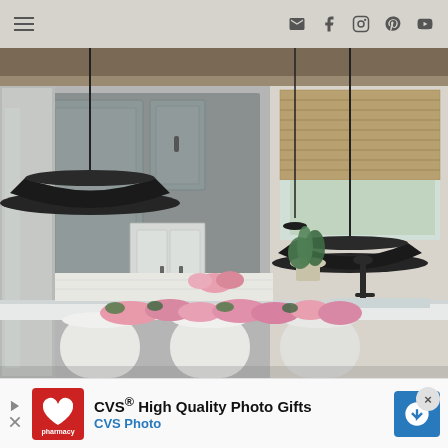Navigation bar with hamburger menu and social/contact icons
[Figure (photo): Interior kitchen photo showing gray shaker cabinets, black pendant lights, white quartz countertops, stainless steel refrigerator, black faucet at sink, bamboo roman shades on window, potted green plant, and pink flowers on island with white upholstered stools in foreground.]
[Figure (other): CVS advertisement banner: CVS High Quality Photo Gifts, CVS Photo, with CVS pharmacy logo on red background and blue arrow navigation icon. Close button (X) in top right.]